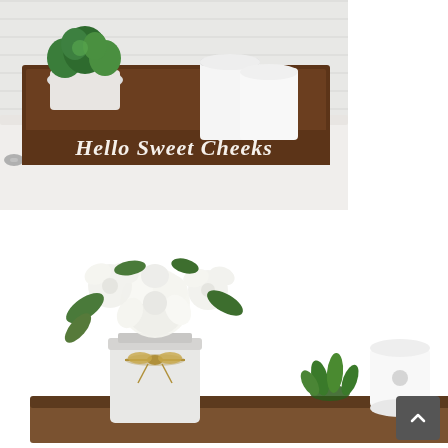[Figure (photo): A rustic wooden tray sitting on top of a toilet tank, containing a white potted green plant (herbs/eucalyptus) and white toilet paper rolls. The front of the wooden tray has a white script sign reading 'Hello Sweet Cheeks'. The background shows white wood-plank walls.]
[Figure (photo): A bathroom decorative tray holding a mason jar with white fabric bow filled with white flowers (peonies/roses) and greenery, a small succulent/aloe plant, and a white toilet paper roll. Background is bright white.]